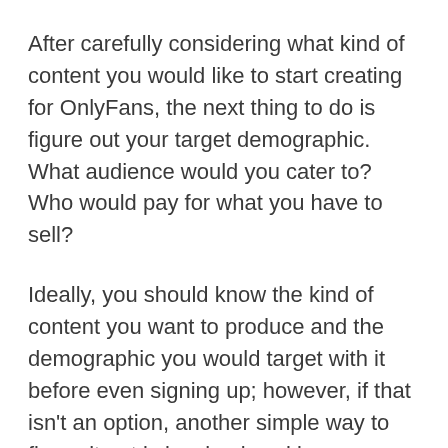After carefully considering what kind of content you would like to start creating for OnlyFans, the next thing to do is figure out your target demographic. What audience would you cater to? Who would pay for what you have to sell?
Ideally, you should know the kind of content you want to produce and the demographic you would target with it before even signing up; however, if that isn't an option, another simple way to figure it out is by simply asking your fans what they want to see from you.